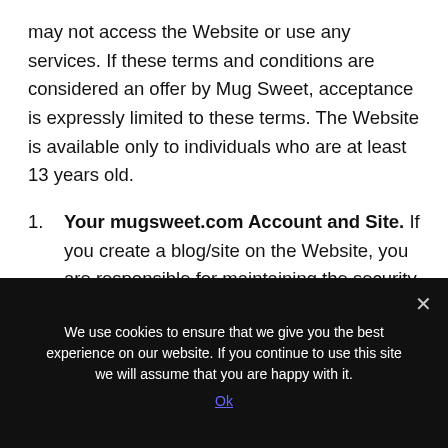may not access the Website or use any services. If these terms and conditions are considered an offer by Mug Sweet, acceptance is expressly limited to these terms. The Website is available only to individuals who are at least 13 years old.
Your mugsweet.com Account and Site. If you create a blog/site on the Website, you are responsible for maintaining the security of your account and blog, and you are fully responsible for all activities that occur under the account and any other actions taken in connection with the blog. You must not
We use cookies to ensure that we give you the best experience on our website. If you continue to use this site we will assume that you are happy with it.